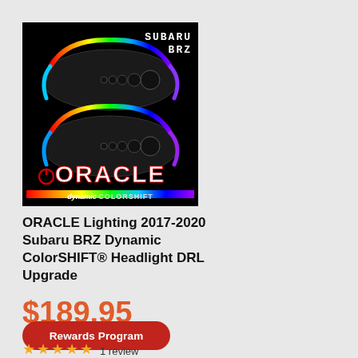[Figure (photo): Product photo of ORACLE Lighting Dynamic ColorSHIFT Headlight DRL Upgrade for 2017-2020 Subaru BRZ. Shows two black headlights with rainbow RGB LED halos on black background. 'SUBARU BRZ' text in top right, 'ORACLE' logo in center, 'dynamic COLORSHIFT' text at bottom with rainbow gradient bar.]
ORACLE Lighting 2017-2020 Subaru BRZ Dynamic ColorSHIFT® Headlight DRL Upgrade
$189.95
Rewards Program
1 review